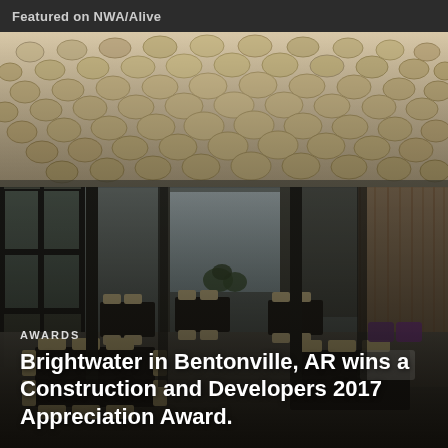Featured on NWA/Alive
[Figure (photo): Interior photograph of a modern open office/cafeteria space in Brightwater, Bentonville, AR. The ceiling features a decorative pattern of round wood or metal discs. The space has large windows at the far end, black metal-framed glass partitions on the left, wood-accent walls on the right, and modern furniture including dark tables with light wood chairs. Purple accent chairs are visible in the far right.]
AWARDS
Brightwater in Bentonville, AR wins a Construction and Developers 2017 Appreciation Award.